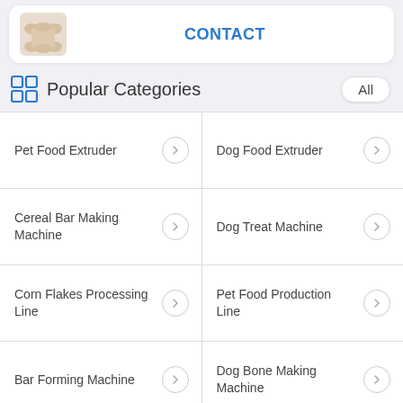[Figure (screenshot): Top card with product image and CONTACT button]
Popular Categories
Pet Food Extruder
Dog Food Extruder
Cereal Bar Making Machine
Dog Treat Machine
Corn Flakes Processing Line
Pet Food Production Line
Bar Forming Machine
Dog Bone Making Machine